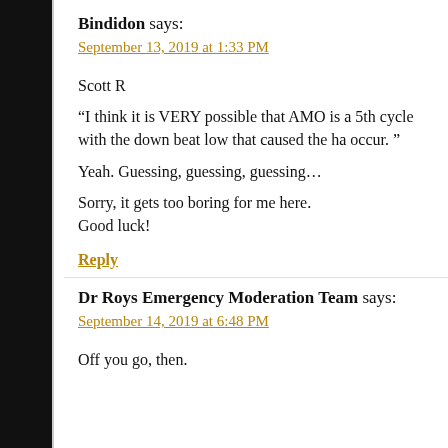Bindidon says:
September 13, 2019 at 1:33 PM
Scott R
“I think it is VERY possible that AMO is a 5th cycle with the down beat low that caused the ha occur. ”
Yeah. Guessing, guessing, guessing…
Sorry, it gets too boring for me here.
Good luck!
Reply
Dr Roys Emergency Moderation Team says:
September 14, 2019 at 6:48 PM
Off you go, then.